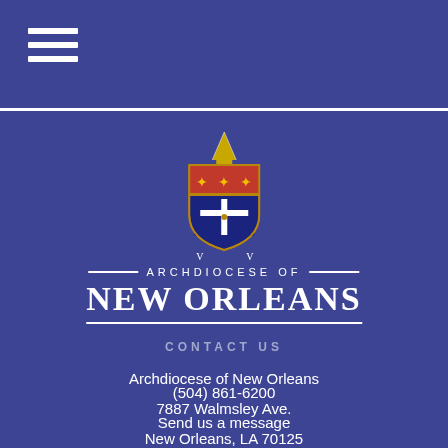[Figure (logo): Archdiocese of New Orleans crest/shield logo with gold mitre on top, red upper shield with gold fleur-de-lis, blue lower shield with white cross and symbols, and decorative elements]
ARCHDIOCESE OF NEW ORLEANS
CONTACT US
Archdiocese of New Orleans
7887 Walmsley Ave.
New Orleans, LA 70125
(504) 861-6200
Send us a message